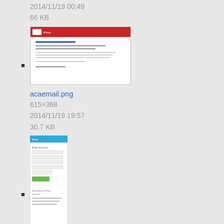2014/11/19 00:49
66 KB
[Figure (screenshot): Thumbnail of acaemail.png showing an iPass email template]
acaemail.png
615×368
2014/11/19 19:57
30.7 KB
[Figure (screenshot): Thumbnail of account_option.png showing an iPass account login form]
account_option.png
343×709
2013/10/09 21:18
33.2 KB
[Figure (screenshot): Thumbnail of account_settings.png showing a settings panel]
account_settings.png
1214×603